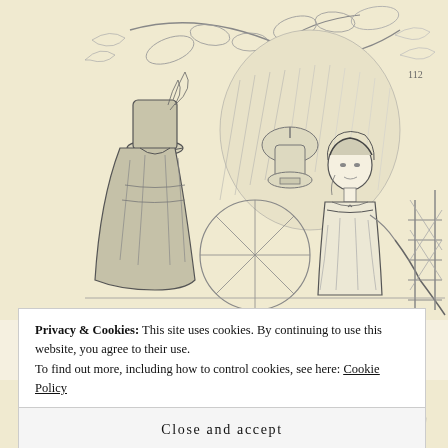[Figure (illustration): A vintage pencil/ink illustration on cream/yellow paper showing two Regency-era figures in a garden setting. On the left, a figure viewed from behind wearing a tall top hat and long cloak. On the right, a young woman in a white empire-waist dress holding a long rod or pole, standing near a lattice fence. The background features foliage, tree branches, and a decorative urn or lantern. Page number '112' visible upper right area.]
Privacy & Cookies: This site uses cookies. By continuing to use this website, you agree to their use.
To find out more, including how to control cookies, see here: Cookie Policy
Close and accept
[Figure (illustration): Partial view of another vintage pencil/ink illustration at the bottom of the page, showing additional figures partially visible.]